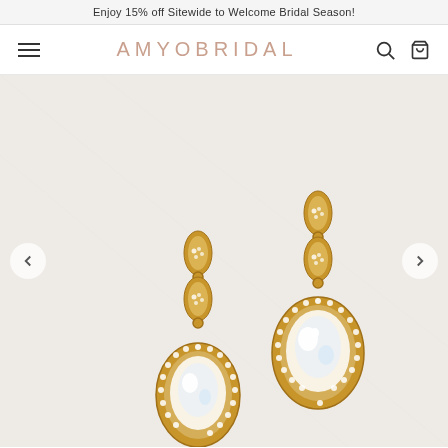Enjoy 15% off Sitewide to Welcome Bridal Season!
AMYOBRIDAL
[Figure (photo): Two gold drop earrings with teardrop-shaped cubic zirconia stones surrounded by a halo of small crystals, and marquise-shaped crystal tops, displayed on a light textured background with left and right navigation arrows.]